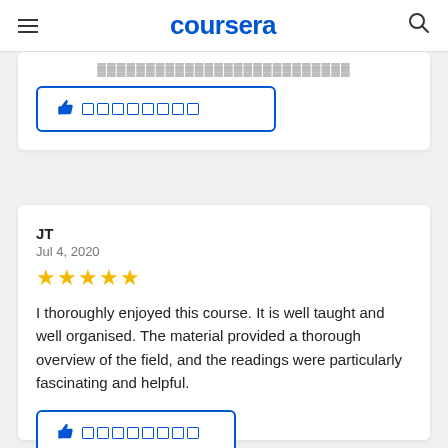coursera
[Figure (screenshot): Partial review card with a thumbs up helpful button with blue border]
JT
Jul 4, 2020
★★★★★
I thoroughly enjoyed this course. It is well taught and well organised. The material provided a thorough overview of the field, and the readings were particularly fascinating and helpful.
[Figure (screenshot): Thumbs up helpful button with blue border and square placeholder icons]